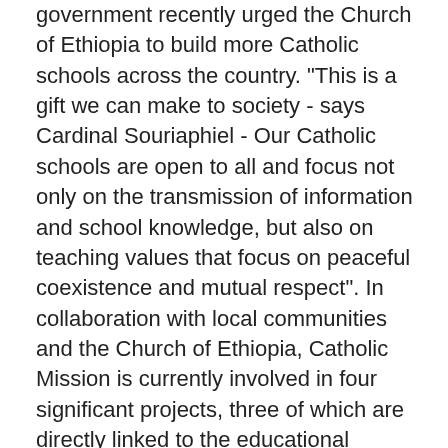government recently urged the Church of Ethiopia to build more Catholic schools across the country. "This is a gift we can make to society - says Cardinal Souriaphiel - Our Catholic schools are open to all and focus not only on the transmission of information and school knowledge, but also on teaching values that focus on peaceful coexistence and mutual respect". In collaboration with local communities and the Church of Ethiopia, Catholic Mission is currently involved in four significant projects, three of which are directly linked to the educational commitment. In the city of Meki, for example, a professional center has been developed to promote the education of women in a country where 83% of them are illiterate. Since the beginning of the project, the Kidist Mariam Pastoral Center has supported more than 8,000 women in a socio-economic context in which very often they are forced to look for work abroad, running the risk of exploitation. Catholic Mission is also collaborating with Lideta